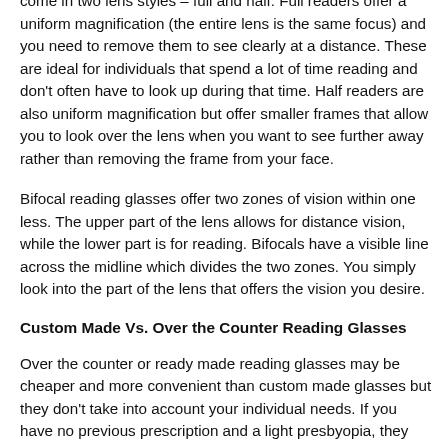come in two lens styles – full and half. Full readers offer a uniform magnification (the entire lens is the same focus) and you need to remove them to see clearly at a distance. These are ideal for individuals that spend a lot of time reading and don't often have to look up during that time. Half readers are also uniform magnification but offer smaller frames that allow you to look over the lens when you want to see further away rather than removing the frame from your face.
Bifocal reading glasses offer two zones of vision within one less. The upper part of the lens allows for distance vision, while the lower part is for reading. Bifocals have a visible line across the midline which divides the two zones. You simply look into the part of the lens that offers the vision you desire.
Custom Made Vs. Over the Counter Reading Glasses
Over the counter or ready made reading glasses may be cheaper and more convenient than custom made glasses but they don't take into account your individual needs. If you have no previous prescription and a light presbyopia, they may sufficiently suit your needs however in many cases, they can cause eye strain,